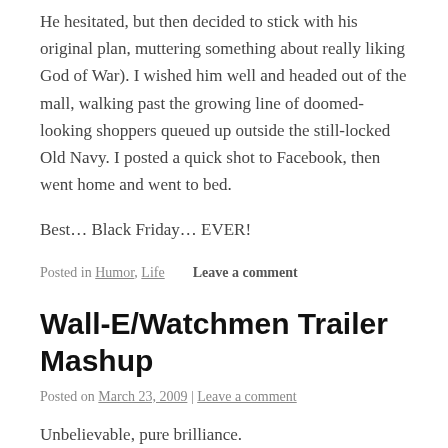He hesitated, but then decided to stick with his original plan, muttering something about really liking God of War). I wished him well and headed out of the mall, walking past the growing line of doomed-looking shoppers queued up outside the still-locked Old Navy. I posted a quick shot to Facebook, then went home and went to bed.
Best… Black Friday… EVER!
Posted in Humor, Life   Leave a comment
Wall-E/Watchmen Trailer Mashup
Posted on March 23, 2009 | Leave a comment
Unbelievable, pure brilliance.